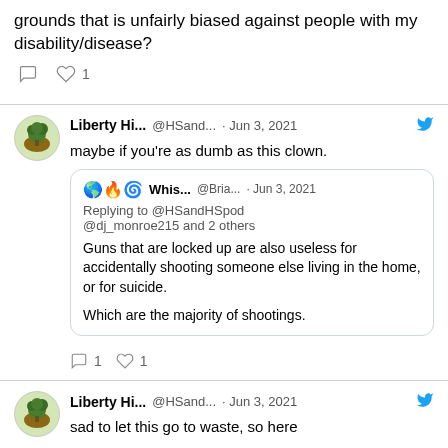grounds that is unfairly biased against people with my disability/disease?
Reply: 0, Like: 1
Liberty Hi... @HSand... · Jun 3, 2021 — maybe if you're as dumb as this clown.
🌎🔥🌀 Whis... @Bria... · Jun 3, 2021
Replying to @HSandHSpod @dj_monroe215 and 2 others
Guns that are locked up are also useless for accidentally shooting someone else living in the home, or for suicide.

Which are the majority of shootings.
Reply: 1, Like: 1
Liberty Hi... @HSand... · Jun 3, 2021 — sad to let this go to waste, so here